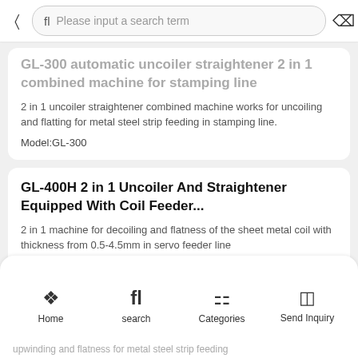Please input a search term
GL-300 automatic uncoiler straightener 2 in 1 combined machine for stamping line
2 in 1 uncoiler straightener combined machine works for uncoiling and flatting for metal steel strip feeding in stamping line.
Model:GL-300
GL-400H 2 in 1 Uncoiler And Straightener Equipped With Coil Feeder...
2 in 1 machine for decoiling and flatness of the sheet metal coil with thickness from 0.5-4.5mm in servo feeder line
Model:GL-400H
Home  search  Categories  Send Inquiry